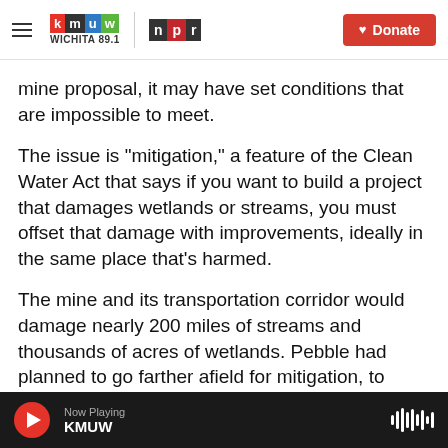KMUW Wichita 89.1 | NPR | Donate
mine proposal, it may have set conditions that are impossible to meet.
The issue is "mitigation," a feature of the Clean Water Act that says if you want to build a project that damages wetlands or streams, you must offset that damage with improvements, ideally in the same place that's harmed.
The mine and its transportation corridor would damage nearly 200 miles of streams and thousands of acres of wetlands. Pebble had planned to go farther afield for mitigation, to improve village sewage systems and replace
Now Playing KMUW